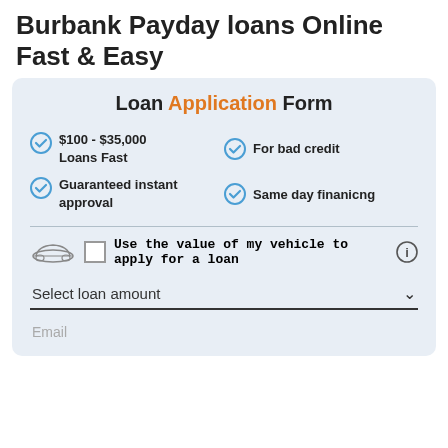Burbank Payday loans Online Fast & Easy
Loan Application Form
$100 - $35,000 Loans Fast
For bad credit
Guaranteed instant approval
Same day finanicng
Use the value of my vehicle to apply for a loan
Select loan amount
Email